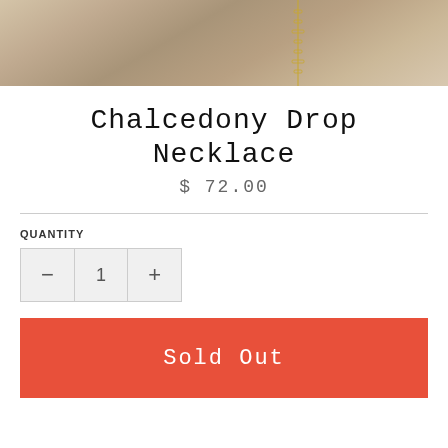[Figure (photo): Close-up photo of a gold chain necklace on a tan/beige stone or wood surface background]
Chalcedony Drop Necklace
$ 72.00
QUANTITY
- 1 +
Sold Out